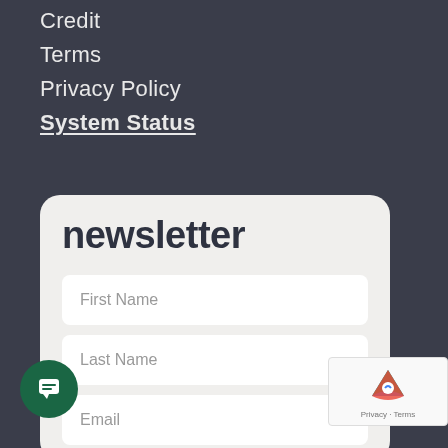Credit
Terms
Privacy Policy
System Status
newsletter
First Name
Last Name
Email